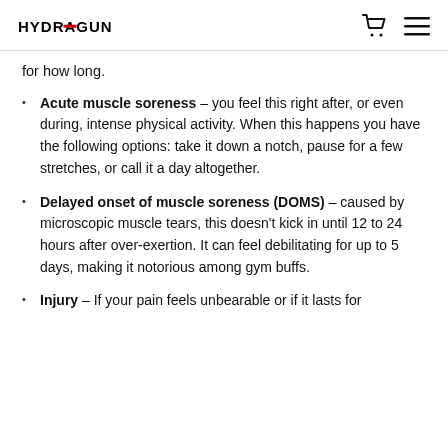HYDRAGUN
for how long.
Acute muscle soreness – you feel this right after, or even during, intense physical activity. When this happens you have the following options: take it down a notch, pause for a few stretches, or call it a day altogether.
Delayed onset of muscle soreness (DOMS) – caused by microscopic muscle tears, this doesn't kick in until 12 to 24 hours after over-exertion. It can feel debilitating for up to 5 days, making it notorious among gym buffs.
Injury – If your pain feels unbearable or if it lasts for